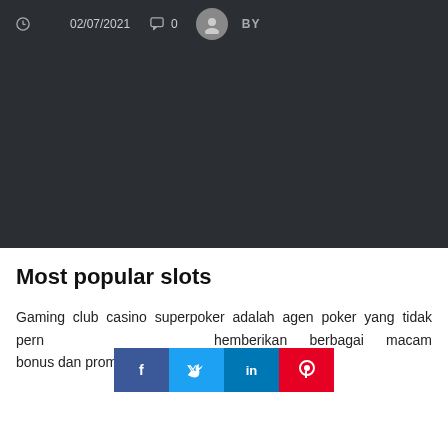02/07/2021  0  BY
[Figure (other): Dark background image area]
Most popular slots
Gaming club casino superpoker adalah agen poker yang tidak pern memberikan berbagai macam bonus dan promo terbaiknya
[Figure (infographic): Social sharing buttons: Facebook (f), Twitter, LinkedIn (in), Pinterest (p)]